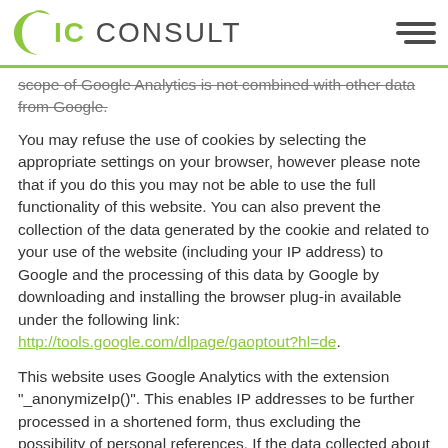ic CONSULT
scope of Google Analytics is not combined with other data from Google.
You may refuse the use of cookies by selecting the appropriate settings on your browser, however please note that if you do this you may not be able to use the full functionality of this website. You can also prevent the collection of the data generated by the cookie and related to your use of the website (including your IP address) to Google and the processing of this data by Google by downloading and installing the browser plug-in available under the following link: http://tools.google.com/dlpage/gaoptout?hl=de.
This website uses Google Analytics with the extension "_anonymizeIp()". This enables IP addresses to be further processed in a shortened form, thus excluding the possibility of personal references. If the data collected about you contains a personal reference, this is immediately excluded and the personal data is deleted